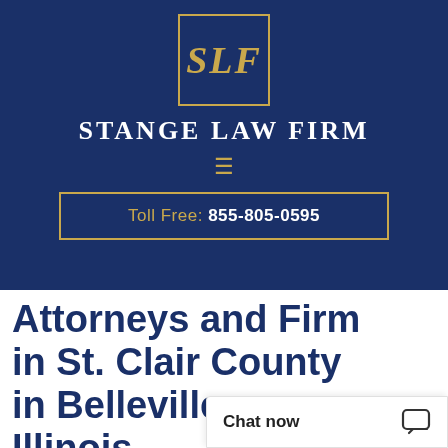[Figure (logo): SLF logo in gold italic lettering inside a gold-bordered box on dark navy background, with 'STANGE LAW FIRM' text below in white serif uppercase letters, and a gold hamburger menu icon]
Toll Free: 855-805-0595
Attorneys and Firm in St. Clair County in Belleville, Illinois
For most people in nothing more impo
Chat now